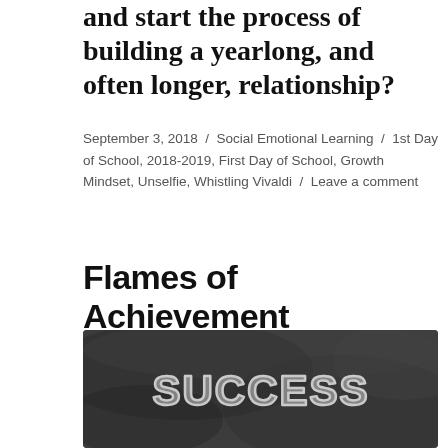and start the process of building a yearlong, and often longer, relationship?
September 3, 2018 / Social Emotional Learning / 1st Day of School, 2018-2019, First Day of School, Growth Mindset, Unselfie, Whistling Vivaldi / Leave a comment
Flames of Achievement
[Figure (photo): A dark chalkboard background with the word 'SUCCESS' written in chalk-style white lettering.]